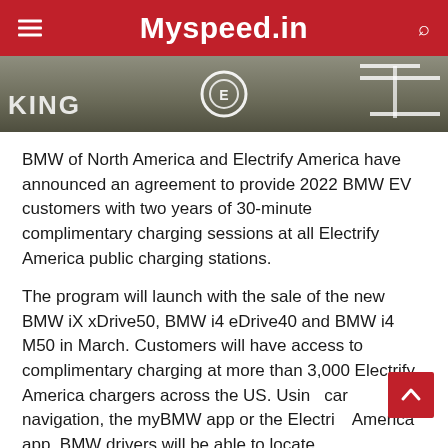Myspeed.in
[Figure (photo): Parking lot pavement with EV charging station markings, showing white painted lines and a circular EV symbol on dark asphalt surface]
BMW of North America and Electrify America have announced an agreement to provide 2022 BMW EV customers with two years of 30-minute complimentary charging sessions at all Electrify America public charging stations.
The program will launch with the sale of the new BMW iX xDrive50, BMW i4 eDrive40 and BMW i4 M50 in March. Customers will have access to complimentary charging at more than 3,000 Electrify America chargers across the US. Using car navigation, the myBMW app or the Electrify America app, BMW drivers will be able to locate